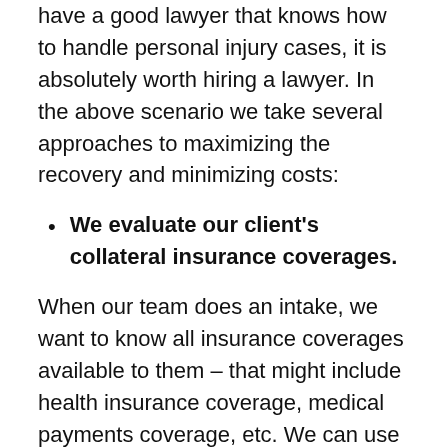have a good lawyer that knows how to handle personal injury cases, it is absolutely worth hiring a lawyer. In the above scenario we take several approaches to maximizing the recovery and minimizing costs:
We evaluate our client's collateral insurance coverages.
When our team does an intake, we want to know all insurance coverages available to them – that might include health insurance coverage, medical payments coverage, etc. We can use these collateral coverages to offset or reduce the amount owed back to medical providers. We recently represented a young man that was hit by a car on his bicycle. He would have been fine but his hand went through the car window and he had to have minor surgery to remove the glass. In this case policy limits were $25,000, but medical expenses were $22,000. We utilized his health insurance and medical payments policy to offset and reduce the amount owed